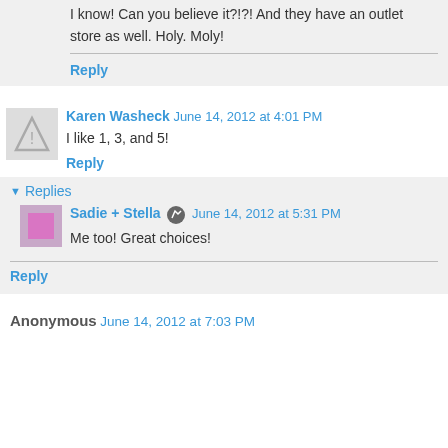I know! Can you believe it?!?! And they have an outlet store as well. Holy. Moly!
Reply
Karen Washeck  June 14, 2012 at 4:01 PM
I like 1, 3, and 5!
Reply
Replies
Sadie + Stella  June 14, 2012 at 5:31 PM
Me too! Great choices!
Reply
Anonymous  June 14, 2012 at 7:03 PM